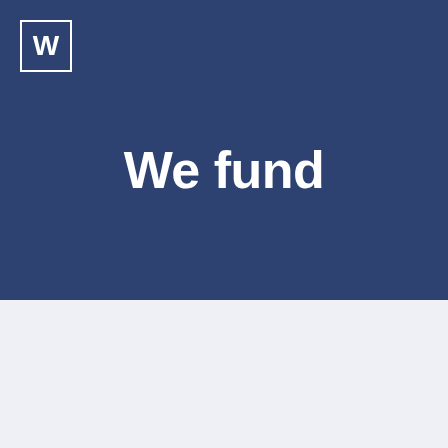[Figure (logo): White letter W inside a white square border on dark navy background]
We fund
[Figure (photo): Dark nighttime street scene with buildings on either side and street lights illuminating a road]